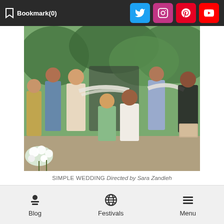Bookmark(0)
[Figure (photo): A group of people at an outdoor gathering or wedding scene. Several adults standing and interacting, a young man in a green floral shirt seated, a woman in a white dress. White flowers in the foreground, trees in background.]
SIMPLE WEDDING Directed by Sara Zandieh
Over 11 days, the 2019 Atlanta Film Festival (ATLFF)
Blog  Festivals  Menu